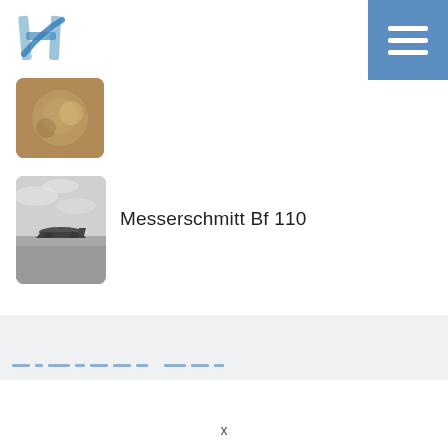H logo and hamburger menu
[Figure (photo): Partially visible thumbnail image at top left, showing a warm-toned scene]
[Figure (photo): Black and white photograph of a Messerschmitt Bf 110 aircraft in flight]
Messerschmitt Bf 110
Navigation footer links (partially visible blue dashes)